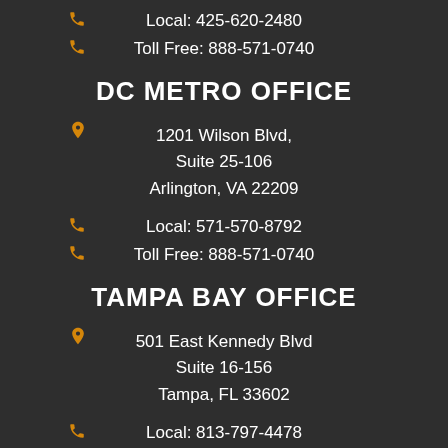Local: 425-620-2480
Toll Free: 888-571-0740
DC METRO OFFICE
1201 Wilson Blvd,
Suite 25-106
Arlington, VA 22209
Local: 571-570-8792
Toll Free: 888-571-0740
TAMPA BAY OFFICE
501 East Kennedy Blvd
Suite 16-156
Tampa, FL 33602
Local: 813-797-4478
Toll Free: 888-571-0740
SOCIAL MEDIA